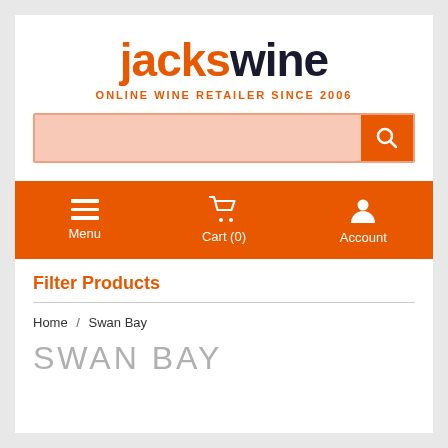[Figure (logo): jackswine logo with 'jacks' in orange and 'wine' in dark navy, large sans-serif font]
ONLINE WINE RETAILER SINCE 2006
[Figure (screenshot): Search bar with salmon/pink background input and orange search button with magnifying glass icon]
[Figure (screenshot): Orange navigation bar with Menu (hamburger icon), Cart (0) (cart icon), and Account (person icon)]
Filter Products
Home / Swan Bay
SWAN BAY